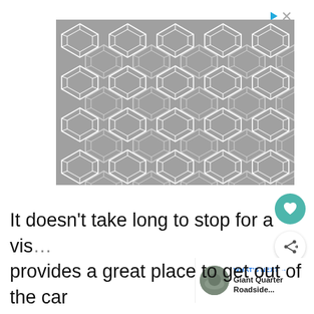[Figure (illustration): Gray geometric hexagonal/diamond repeating tile pattern advertisement placeholder with play and close icons in top-right corner]
[Figure (illustration): Circular teal heart/favorite button icon]
[Figure (illustration): Circular white share button icon]
[Figure (illustration): What's Next bar with thumbnail image of a large sphere roadside attraction, labeled 'Giant Quarter Roadside...']
It doesn't take long to stop for a vis… provides a great place to get out of the car